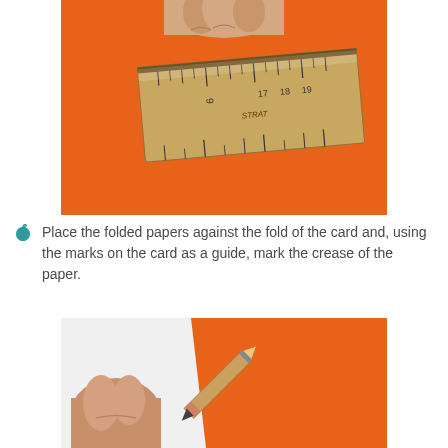[Figure (photo): Close-up photo of a hand holding a metal ruler against orange card stock, with measurement marks visible on the ruler.]
Place the folded papers against the fold of the card and, using the marks on the card as a guide, mark the crease of the paper.
[Figure (photo): Photo showing a hand with fingers pressing on white paper against orange card, with a pencil marking the crease of the paper.]